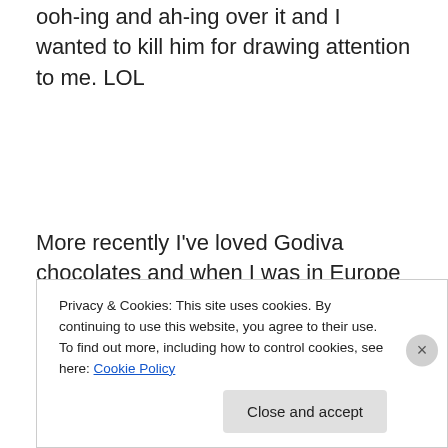ooh-ing and ah-ing over it and I wanted to kill him for drawing attention to me. LOL
More recently I’ve loved Godiva chocolates and when I was in Europe I brought back a ton
[Figure (photo): Photo of a chocolate shop display counter with chocolates and a person behind the counter]
Privacy & Cookies: This site uses cookies. By continuing to use this website, you agree to their use.
To find out more, including how to control cookies, see here: Cookie Policy
Close and accept